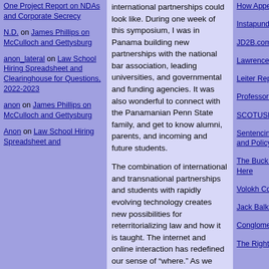N.D. on James Phillips on McCulloch and Gettysburg
anon_lateral on Law School Hiring Spreadsheet and Clearinghouse for Questions, 2022-2023
anon on James Phillips on McCulloch and Gettysburg
Anon on Law School Hiring Spreadsheet and
international partnerships could look like. During one week of this symposium, I was in Panama building new partnerships with the national bar association, leading universities, and governmental and funding agencies. It was also wonderful to connect with the Panamanian Penn State family, and get to know alumni, parents, and incoming and future students.
The combination of international and transnational partnerships and students with rapidly evolving technology creates new possibilities for reterritorializing law and how it is taught. The internet and online interaction has redefined our sense of “where.” As we interact across borders, many different types of options emerge, especially if we are open to modularity. We have many international students in our building in University Park, including LLMs, SJDs, Pre-LLMs, and exchange students. And we are exploring options for how we could serve additional students through our new and established transnational partnerships, which
How Appealing
Instapundit.com
JD2B.com
Lawrence Lessig
Leiter Reports
ProfessorBainb
SCOTUSBlog
Sentencing Law and Policy
The Buck Stops Here
Volokh Conspiracy
Jack Balkin
Conglomerate
The Right Coast